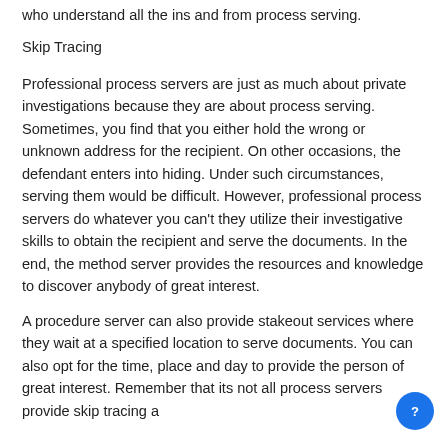who understand all the ins and from process serving.
Skip Tracing
Professional process servers are just as much about private investigations because they are about process serving. Sometimes, you find that you either hold the wrong or unknown address for the recipient. On other occasions, the defendant enters into hiding. Under such circumstances, serving them would be difficult. However, professional process servers do whatever you can't they utilize their investigative skills to obtain the recipient and serve the documents. In the end, the method server provides the resources and knowledge to discover anybody of great interest.
A procedure server can also provide stakeout services where they wait at a specified location to serve documents. You can also opt for the time, place and day to provide the person of great interest. Remember that its not all process servers provide skip tracing and investigative services.